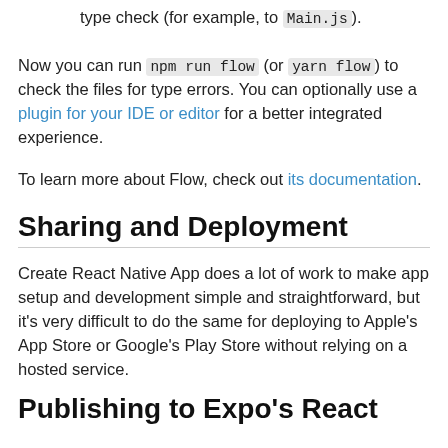type check (for example, to Main.js).
Now you can run npm run flow (or yarn flow) to check the files for type errors. You can optionally use a plugin for your IDE or editor for a better integrated experience.
To learn more about Flow, check out its documentation.
Sharing and Deployment
Create React Native App does a lot of work to make app setup and development simple and straightforward, but it's very difficult to do the same for deploying to Apple's App Store or Google's Play Store without relying on a hosted service.
Publishing to Expo's React